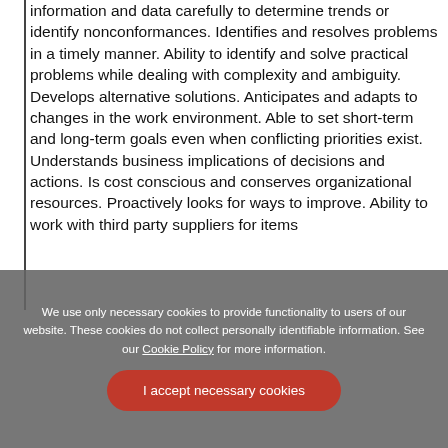information and data carefully to determine trends or identify nonconformances. Identifies and resolves problems in a timely manner. Ability to identify and solve practical problems while dealing with complexity and ambiguity. Develops alternative solutions. Anticipates and adapts to changes in the work environment. Able to set short-term and long-term goals even when conflicting priorities exist. Understands business implications of decisions and actions. Is cost conscious and conserves organizational resources. Proactively looks for ways to improve. Ability to work with third party suppliers for items
We use only necessary cookies to provide functionality to users of our website. These cookies do not collect personally identifiable information. See our Cookie Policy for more information.
I accept necessary cookies